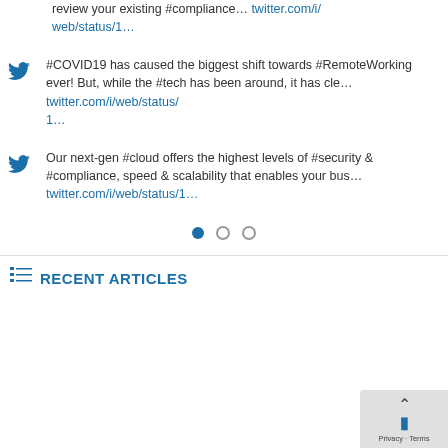review your existing #compliance… twitter.com/i/web/status/1…
#COVID19 has caused the biggest shift towards #RemoteWorking ever! But, while the #tech has been around, it has cle… twitter.com/i/web/status/1…
Our next-gen #cloud offers the highest levels of #security & #compliance, speed & scalability that enables your bus… twitter.com/i/web/status/1…
[Figure (other): Pagination dots: one filled blue circle and two empty circles]
RECENT ARTICLES
[Figure (other): Overlay widget with back arrow and logo, Privacy - Terms text]